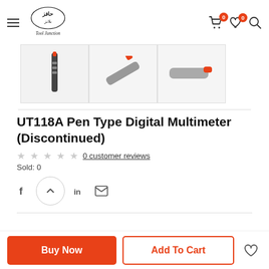Tool Junction - Navigation header with logo, cart (0), wishlist (0), and search icons
[Figure (photo): Three thumbnail product images of the UT118A Pen Type Digital Multimeter]
UT118A Pen Type Digital Multimeter (Discontinued)
0 customer reviews
Sold: 0
Share icons: Facebook, Twitter/X, LinkedIn, Email
Buy Now | Add To Cart